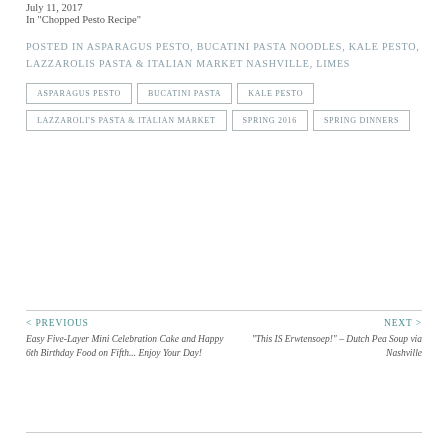July 11, 2017
In "Chopped Pesto Recipe"
POSTED IN ASPARAGUS PESTO, BUCATINI PASTA NOODLES, KALE PESTO, LAZZAROLIS PASTA & ITALIAN MARKET NASHVILLE, LIMES
ASPARAGUS PESTO
BUCATINI PASTA
KALE PESTO
LAZZAROLI'S PASTA & ITALIAN MARKET
SPRING 2016
SPRING DINNERS
< PREVIOUS
Easy Five-Layer Mini Celebration Cake and Happy 6th Birthday Food on Fifth... Enjoy Your Day!
NEXT >
"This IS Erwtensoep!" – Dutch Pea Soup via Nashville